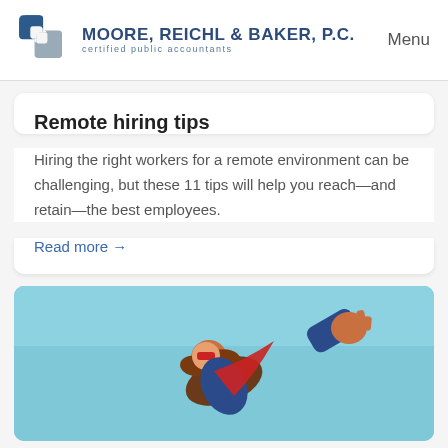MOORE, REICHL & BAKER, P.C. certified public accountants | Menu
Remote hiring tips
Hiring the right workers for a remote environment can be challenging, but these 11 tips will help you reach—and retain—the best employees.
Read more →
[Figure (illustration): Illustration of a woman dressed as a superhero flying, with red cape and mask, against a light blue sky background.]